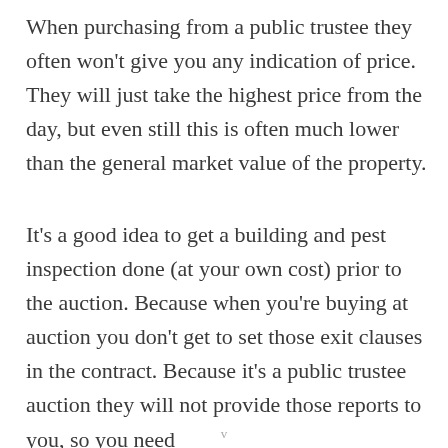When purchasing from a public trustee they often won't give you any indication of price. They will just take the highest price from the day, but even still this is often much lower than the general market value of the property.
It's a good idea to get a building and pest inspection done (at your own cost) prior to the auction. Because when you're buying at auction you don't get to set those exit clauses in the contract. Because it's a public trustee auction they will not provide those reports to you, so you need
v